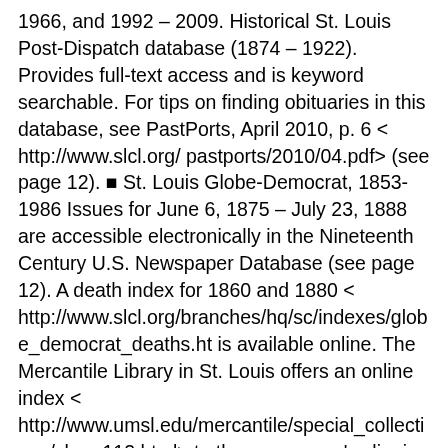1966, and 1992 – 2009. Historical St. Louis Post-Dispatch database (1874 – 1922). Provides full-text access and is keyword searchable. For tips on finding obituaries in this database, see PastPorts, April 2010, p. 6 < http://www.slcl.org/ pastports/2010/04.pdf> (see page 12). ■ St. Louis Globe-Democrat, 1853-1986 Issues for June 6, 1875 – July 23, 1888 are accessible electronically in the Nineteenth Century U.S. Newspaper Database (see page 12). A death index for 1860 and 1880 < http://www.slcl.org/branches/hq/sc/indexes/globe_democrat_deaths.ht is available online. The Mercantile Library in St. Louis offers an online index < http://www.umsl.edu/mercantile/special_collections/slma-112.html> to the newspaper's clipping file. ■ Le Patriot, (French) 1878, 1884, 1886, 1887 An index is available online . ■ La Revue de l'Ouest (French), 1854 An index is available online ■ St. Louis Argus (African American), 1915 – 1942, 1945 – 1962, 1965 – 1966, 1986 –